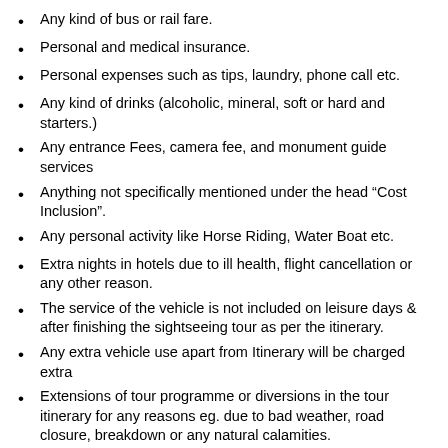Any kind of bus or rail fare.
Personal and medical insurance.
Personal expenses such as tips, laundry, phone call etc.
Any kind of drinks (alcoholic, mineral, soft or hard and starters.)
Any entrance Fees, camera fee, and monument guide services
Anything not specifically mentioned under the head “Cost Inclusion”.
Any personal activity like Horse Riding, Water Boat etc.
Extra nights in hotels due to ill health, flight cancellation or any other reason.
The service of the vehicle is not included on leisure days & after finishing the sightseeing tour as per the itinerary.
Any extra vehicle use apart from Itinerary will be charged extra
Extensions of tour programme or diversions in the tour itinerary for any reasons eg. due to bad weather, road closure, breakdown or any natural calamities.